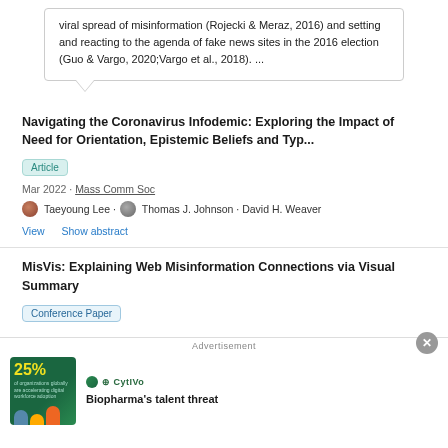viral spread of misinformation (Rojecki & Meraz, 2016) and setting and reacting to the agenda of fake news sites in the 2016 election (Guo & Vargo, 2020;Vargo et al., 2018). ...
Navigating the Coronavirus Infodemic: Exploring the Impact of Need for Orientation, Epistemic Beliefs and Typ...
Article
Mar 2022 · Mass Comm Soc
Taeyoung Lee · Thomas J. Johnson · David H. Weaver
View   Show abstract
MisVis: Explaining Web Misinformation Connections via Visual Summary
Conference Paper
Advertisement
[Figure (other): Advertisement banner for Biopharma's talent threat by CytIVo showing 25% statistic with illustrated figures]
Biopharma's talent threat